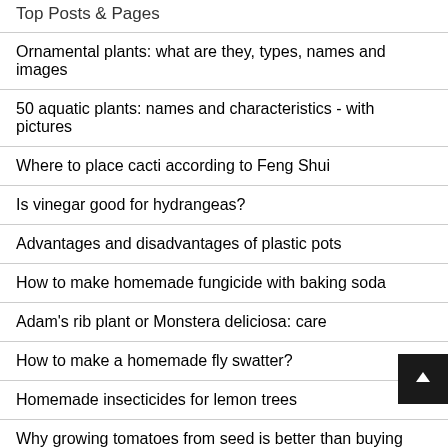Top Posts & Pages
Ornamental plants: what are they, types, names and images
50 aquatic plants: names and characteristics - with pictures
Where to place cacti according to Feng Shui
Is vinegar good for hydrangeas?
Advantages and disadvantages of plastic pots
How to make homemade fungicide with baking soda
Adam's rib plant or Monstera deliciosa: care
How to make a homemade fly swatter?
Homemade insecticides for lemon trees
Why growing tomatoes from seed is better than buying pl…